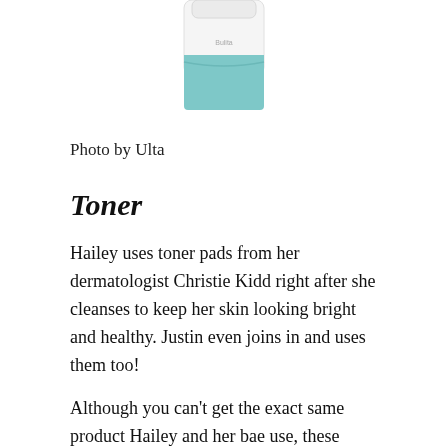[Figure (photo): Product photo of a white and teal/mint colored skincare container (toner pad container), partially cropped at top, centered on white background. Photo credited to Ulta.]
Photo by Ulta
Toner
Hailey uses toner pads from her dermatologist Christie Kidd right after she cleanses to keep her skin looking bright and healthy. Justin even joins in and uses them too!
Although you can't get the exact same product Hailey and her bae use, these Daily Peel Pads from Dr. Dennis Gross are just as good. They have green tea